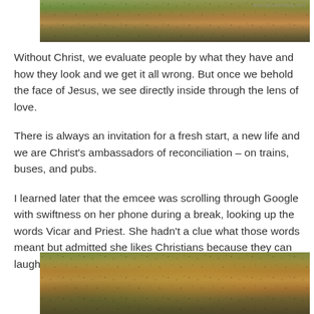[Figure (photo): Photograph of autumn leaves and ground cover, top portion of page]
Without Christ, we evaluate people by what they have and how they look and we get it all wrong. But once we behold the face of Jesus, we see directly inside through the lens of love.
There is always an invitation for a fresh start, a new life and we are Christ's ambassadors of reconciliation – on trains, buses, and pubs.
I learned later that the emcee was scrolling through Google with swiftness on her phone during a break, looking up the words Vicar and Priest. She hadn't a clue what those words meant but admitted she likes Christians because they can laugh at themselves.
[Figure (photo): Photograph of autumn leaves and foliage, bottom portion of page]